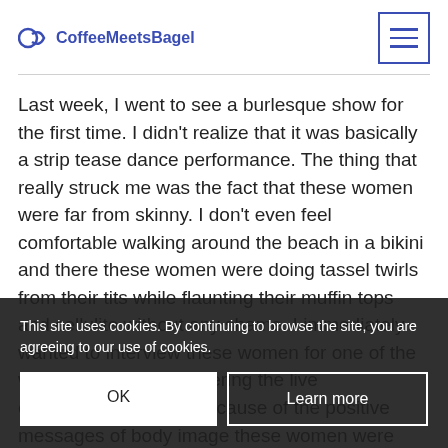CoffeeMeetsBagel
Last week, I went to see a burlesque show for the first time. I didn't realize that it was basically a strip tease dance performance. The thing that really struck me was the fact that these women were far from skinny. I don't even feel comfortable walking around the beach in a bikini and there these women were doing tassel twirls from their tits while flaunting their muffin tops and cellulite without any shame. I immediately wanted to interview these women for one of the websites I write for covering the live entertainment scene because of the positive messages of body image these women were spreading through their risque performances.
After the show, one of the friends I had made at the hostel I was staying at in Portland offered to stick
This site uses cookies. By continuing to browse the site, you are agreeing to our use of cookies.
OK
Learn more